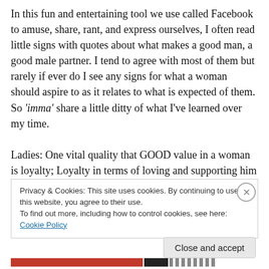In this fun and entertaining tool we use called Facebook to amuse, share, rant, and express ourselves, I often read little signs with quotes about what makes a good man, a good male partner. I tend to agree with most of them but rarely if ever do I see any signs for what a woman should aspire to as it relates to what is expected of them. So 'imma' share a little ditty of what I've learned over my time.

Ladies: One vital quality that GOOD value in a woman is loyalty; Loyalty in terms of loving and supporting him regardless of his status. In other words, does he know you
Privacy & Cookies: This site uses cookies. By continuing to use this website, you agree to their use.
To find out more, including how to control cookies, see here: Cookie Policy